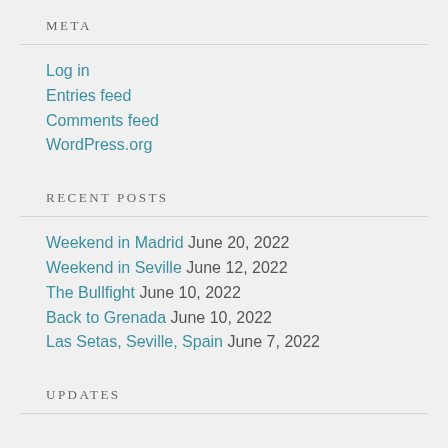META
Log in
Entries feed
Comments feed
WordPress.org
RECENT POSTS
Weekend in Madrid June 20, 2022
Weekend in Seville June 12, 2022
The Bullfight June 10, 2022
Back to Grenada June 10, 2022
Las Setas, Seville, Spain June 7, 2022
UPDATES